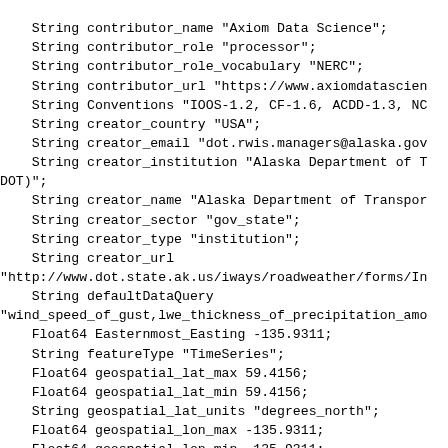String contributor_name "Axiom Data Science";
    String contributor_role "processor";
    String contributor_role_vocabulary "NERC";
    String contributor_url "https://www.axiomdatascien
    String Conventions "IOOS-1.2, CF-1.6, ACDD-1.3, NC
    String creator_country "USA";
    String creator_email "dot.rwis.managers@alaska.gov
    String creator_institution "Alaska Department of T
DOT)";
    String creator_name "Alaska Department of Transpor
    String creator_sector "gov_state";
    String creator_type "institution";
    String creator_url
"http://www.dot.state.ak.us/iways/roadweather/forms/In
    String defaultDataQuery
"wind_speed_of_gust,lwe_thickness_of_precipitation_amo
    Float64 Easternmost_Easting -135.9311;
    String featureType "TimeSeries";
    Float64 geospatial_lat_max 59.4156;
    Float64 geospatial_lat_min 59.4156;
    String geospatial_lat_units "degrees_north";
    Float64 geospatial_lon_max -135.9311;
    Float64 geospatial_lon_min -135.9311;
    String geospatial_lon_units "degrees_east";
    Float64 geospatial_vertical_max 0.0;
    Float64 geospatial_vertical_min 0.0;